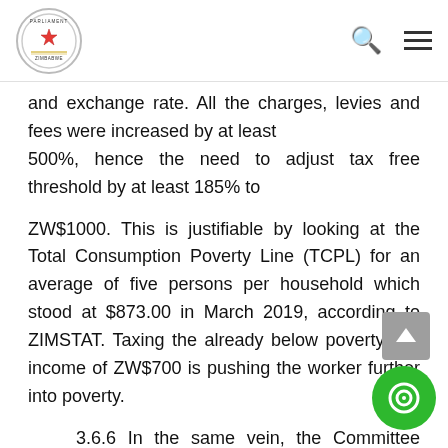Parliament of Zimbabwe header with logo, search icon, and menu icon
and exchange rate. All the charges, levies and fees were increased by at least 500%, hence the need to adjust tax free threshold by at least 185% to
ZW$1000. This is justifiable by looking at the Total Consumption Poverty Line (TCPL) for an average of five persons per household which stood at $873.00 in March 2019, according to ZIMSTAT. Taxing the already below poverty line income of ZW$700 is pushing the worker further into poverty.
3.6.6 In the same vein, the Committee f[ound the] ZW$1.506 billion additional funds set a[side f]or employment costs is grossly inadequate to compensate